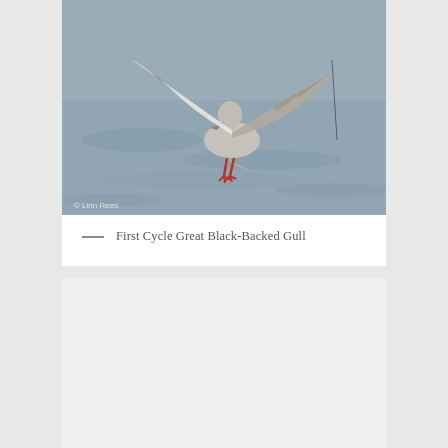[Figure (photo): A First Cycle Great Black-Backed Gull in flight over water, wings spread, with red feet visible, watermarked '© Linn Rees']
— First Cycle Great Black-Backed Gull
[Figure (photo): A second photo panel, appears blank or very light gray, content not visible]